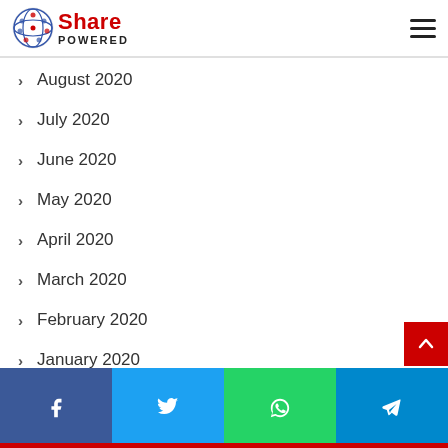SharePowered
August 2020
July 2020
June 2020
May 2020
April 2020
March 2020
February 2020
January 2020
December 2019
November 2019
October 2019
Facebook | Twitter | WhatsApp | Telegram